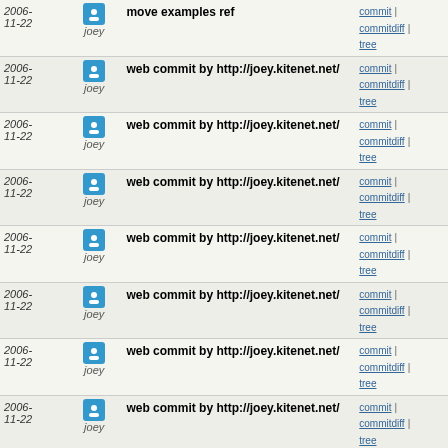| Date | User | Message | Links |
| --- | --- | --- | --- |
| 2006-11-22 | joey | move examples ref | commit | commitdiff | tree |
| 2006-11-22 | joey | web commit by http://joey.kitenet.net/ | commit | commitdiff | tree |
| 2006-11-22 | joey | web commit by http://joey.kitenet.net/ | commit | commitdiff | tree |
| 2006-11-22 | joey | web commit by http://joey.kitenet.net/ | commit | commitdiff | tree |
| 2006-11-22 | joey | web commit by http://joey.kitenet.net/ | commit | commitdiff | tree |
| 2006-11-22 | joey | web commit by http://joey.kitenet.net/ | commit | commitdiff | tree |
| 2006-11-22 | joey | web commit by http://joey.kitenet.net/ | commit | commitdiff | tree |
| 2006-11-22 | joey | web commit by http://joey.kitenet.net/ | commit | commitdiff | tree |
| 2006-11-22 | joey | web commit by http://joey.kitenet.net/: ... | commit | commitdiff | tree |
| 2006-11-22 | joey | bugfixen | commit | commitdiff | tree |
| 2006-11-22 | joey | web commit by http://joey.kitenet.net/: mail bug fixed... | commit | commitdiff | tree |
| 2006-11-22 | joey | fix user determination for web commits | commit | commitdiff | tree |
| 2006-11-22 | joey | web commit by http://joey.kitenet.net/: ... | commit | commitdiff | tree |